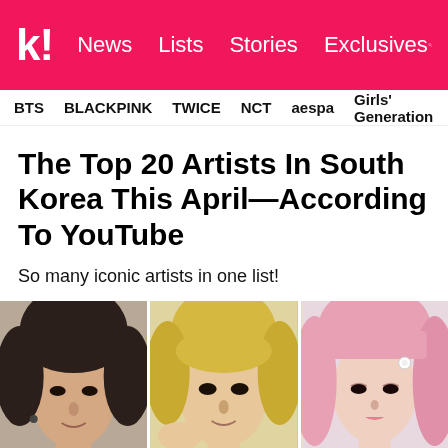k! News  Lists  Stories  Exclusives
BTS  BLACKPINK  TWICE  NCT  aespa  Girls' Generation
The Top 20 Artists In South Korea This April—According To YouTube
So many iconic artists in one list!
[Figure (photo): Three K-pop artist portraits side by side: a male artist with dark hair, a male artist with blonde hair, and a female artist with pink hair]